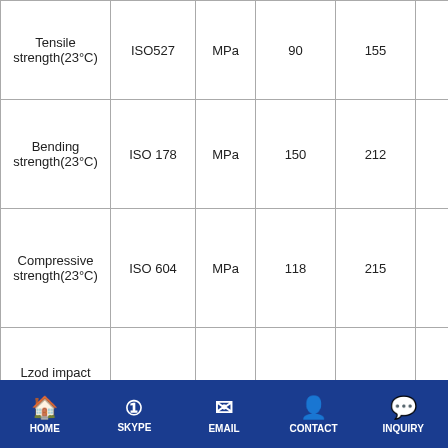| Item | Test Standard or Method | Unit | PEEK5600G | PEEK5600GF30 | PEEK |
| --- | --- | --- | --- | --- | --- |
| Tensile strength(23°C) | ISO527 | MPa | 90 | 155 |  |
| Bending strength(23°C) | ISO 178 | MPa | 150 | 212 |  |
| Compressive strength(23°C) | ISO 604 | MPa | 118 | 215 |  |
| Lzod impact strength( no gap) | ISO 180/IU | kJ/m2 | No Break | 51 |  |
Thermal performance
| Item | Test Standard or | Unit | PEEK5600G | PEEK5600GF30 | PEEK |
| --- | --- | --- | --- | --- | --- |
HOME  SKYPE  EMAIL  CONTACT  INQUIRY